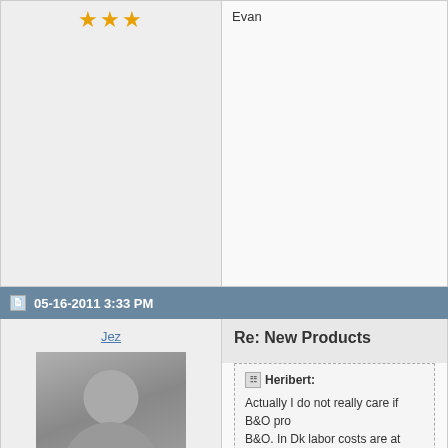[Figure (other): Star rating showing 3 gold stars for previous post]
Evan
05-16-2011 3:33 PM
Jez
[Figure (photo): Default avatar silhouette placeholder image]
Joined on 06-13-2007
Posts 150
[Figure (other): Star rating showing 1 gold star and 2 gray stars]
Re: New Products
Heribert: Actually I do not really care if B&O pro B&O. In Dk labor costs are at least 3ti B&O is special because of Design, qu iPhone because of Design, Uniquness
I'm of the same opinion to an extent. Parts was designed in Italy but made in a differe produce most of thier cars elsewhere in So